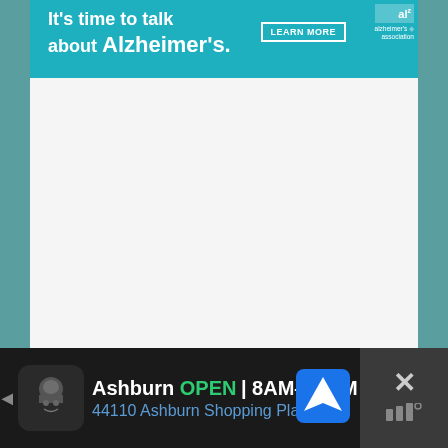[Figure (screenshot): Alzheimer's Association advertisement banner with teal background. Text reads: "It's time to talk about Alzheimer's." with a LEARN MORE button and Alzheimer's Association logo.]
[Figure (screenshot): White/light gray empty content area with a small weather widget watermark icon (bar chart style) in the bottom right corner.]
[Figure (screenshot): Bottom mobile advertisement banner on dark background showing: arrow left icon, chef/restaurant icon, text 'Ashburn OPEN 8AM-10PM 44110 Ashburn Shopping Plaza...' with navigation arrow icon and close X button on the right.]